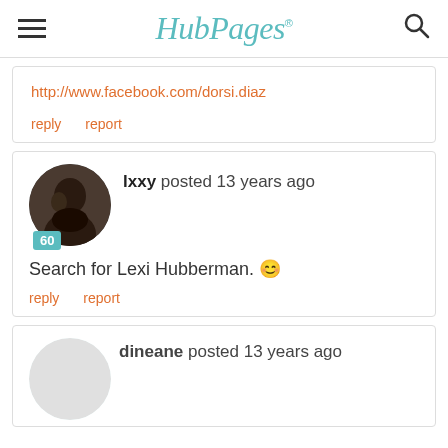HubPages
http://www.facebook.com/dorsi.diaz
reply   report
lxxy posted 13 years ago
Search for Lexi Hubberman. 🙂
reply   report
dineane posted 13 years ago